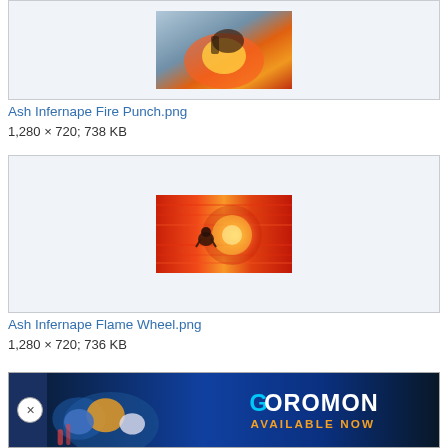[Figure (photo): Cropped image of Ash's Infernape using Fire Punch — fire and flames visible]
Ash Infernape Fire Punch.png
1,280 × 720; 738 KB
[Figure (photo): Ash's Infernape using Flame Wheel — orange and yellow fire spiral attack]
Ash Infernape Flame Wheel.png
1,280 × 720; 736 KB
[Figure (photo): Coromon game advertisement banner — colorful monster characters, 'Coromon Available Now' text]